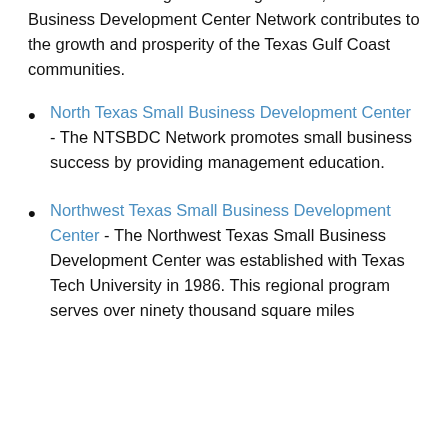business consulting and training centers, the Small Business Development Center Network contributes to the growth and prosperity of the Texas Gulf Coast communities.
North Texas Small Business Development Center - The NTSBDC Network promotes small business success by providing management education.
Northwest Texas Small Business Development Center - The Northwest Texas Small Business Development Center was established with Texas Tech University in 1986. This regional program serves over ninety thousand square miles